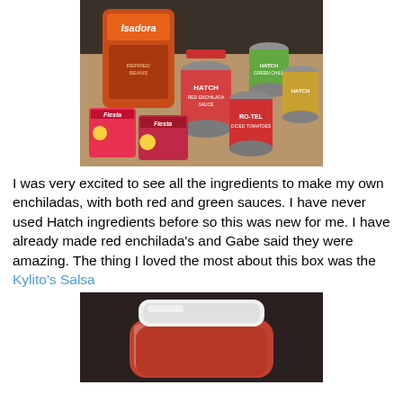[Figure (photo): Photo of enchilada ingredients on a table: Isadora refried beans pouch, Hatch red enchilada sauce cans, Hatch green chile cans, Ro-Tel tomato can, and two Fiesta seasoning packets.]
I was very excited to see all the ingredients to make my own enchiladas, with both red and green sauces. I have never used Hatch ingredients before so this was new for me. I have already made red enchilada's and Gabe said they were amazing. The thing I loved the most about this box was the Kylito's Salsa
[Figure (photo): Photo of a glass jar of Kylito's Salsa with a white lid, showing red salsa inside.]